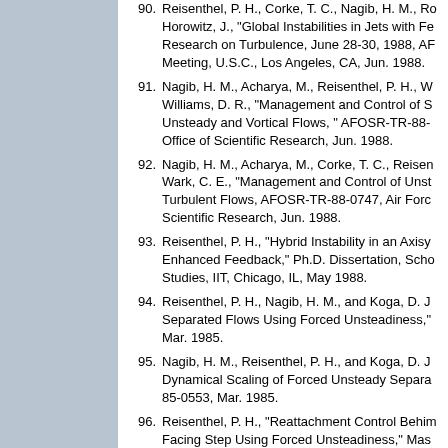90. Reisenthel, P. H., Corke, T. C., Nagib, H. M., Ro... Horowitz, J., "Global Instabilities in Jets with Fe... Research on Turbulence, June 28-30, 1988, AF... Meeting, U.S.C., Los Angeles, CA, Jun. 1988.
91. Nagib, H. M., Acharya, M., Reisenthel, P. H., W... Williams, D. R., "Management and Control of S... Unsteady and Vortical Flows, " AFOSR-TR-88-... Office of Scientific Research, Jun. 1988.
92. Nagib, H. M., Acharya, M., Corke, T. C., Reisen... Wark, C. E., "Management and Control of Unst... Turbulent Flows, AFOSR-TR-88-0747, Air Forc... Scientific Research, Jun. 1988.
93. Reisenthel, P. H., "Hybrid Instability in an Axisy... Enhanced Feedback," Ph.D. Dissertation, Scho... Studies, IIT, Chicago, IL, May 1988.
94. Reisenthel, P. H., Nagib, H. M., and Koga, D. J... Separated Flows Using Forced Unsteadiness,"... Mar. 1985.
95. Nagib, H. M., Reisenthel, P. H., and Koga, D. J... Dynamical Scaling of Forced Unsteady Separa... 85-0553, Mar. 1985.
96. Reisenthel, P. H., "Reattachment Control Behim... Facing Step Using Forced Unsteadiness," Mas... School of Advanced Studies, IIT, Chicago, IL, D...
97. Koga, D. J., Reisenthel, P., and Nagib, H. M., "... Separated Flowfields Using Forced Unsteadine... Heat Transfer Report R84-1, IIT, Chicago, IL, Ja...